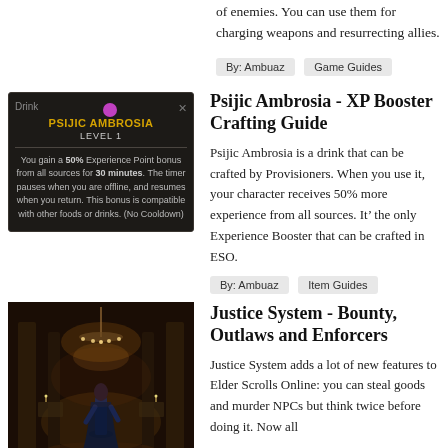of enemies. You can use them for charging weapons and resurrecting allies.
By: Ambuaz   Game Guides
[Figure (screenshot): Dark game UI card showing Psijic Ambrosia drink item, level 1, with description about 50% Experience Point bonus for 30 minutes.]
Psijic Ambrosia - XP Booster Crafting Guide
Psijic Ambrosia is a drink that can be crafted by Provisioners. When you use it, your character receives 50% more experience from all sources. It's the only Experience Booster that can be crafted in ESO.
By: Ambuaz   Item Guides
[Figure (screenshot): Fantasy game scene showing a character in blue armor standing in a grand interior hall with chandeliers and warm lighting.]
Justice System - Bounty, Outlaws and Enforcers
Justice System adds a lot of new features to Elder Scrolls Online: you can steal goods and murder NPCs but think twice before doing it. Now all